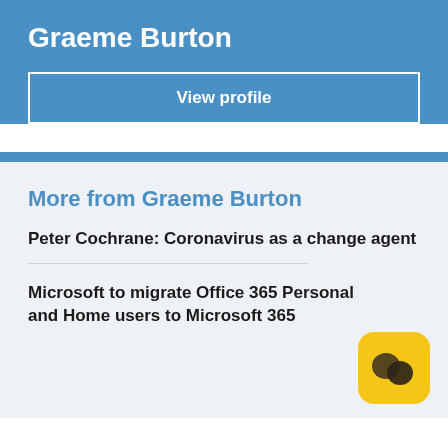Graeme Burton
View profile
More from Graeme Burton
Peter Cochrane: Coronavirus as a change agent
Microsoft to migrate Office 365 Personal and Home users to Microsoft 365
[Figure (logo): Yellow rounded square logo with two dark brown overlapping circle/blob shapes]